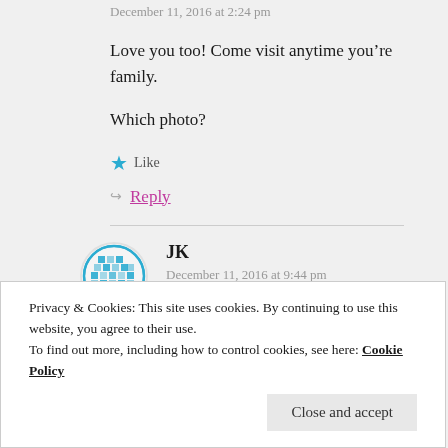December 11, 2016 at 2:24 pm
Love you too! Come visit anytime you’re family.
Which photo?
★ Like
Reply
JK
December 11, 2016 at 9:44 pm
Privacy & Cookies: This site uses cookies. By continuing to use this website, you agree to their use.
To find out more, including how to control cookies, see here: Cookie Policy
Close and accept